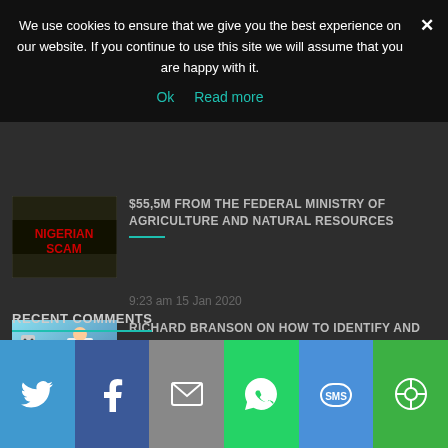We use cookies to ensure that we give you the best experience on our website. If you continue to use this site we will assume that you are happy with it.
Ok   Read more
$55,5M FROM THE FEDERAL MINISTRY OF AGRICULTURE AND NATURAL RESOURCES
9:23 am 15 Jan 2020
RICHARD BRANSON ON HOW TO IDENTIFY AND AVOID SCAMS
5:14 pm 07 Jan 2020
RECENT COMMENTS